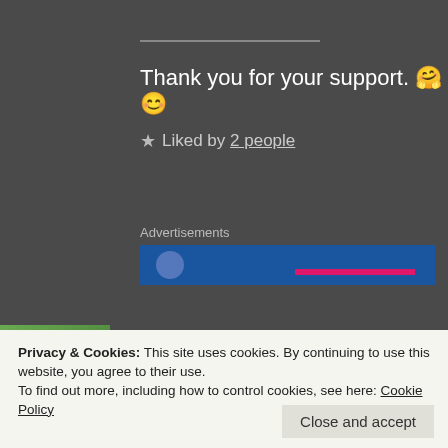Thank you for your support. 🤗😊
★ Liked by 2 people
Advertisements
[Figure (screenshot): Blue advertisement banner with a pink/magenta bar and small circle icon]
Brothers Campfire
Privacy & Cookies: This site uses cookies. By continuing to use this website, you agree to their use.
To find out more, including how to control cookies, see here: Cookie Policy
Close and accept